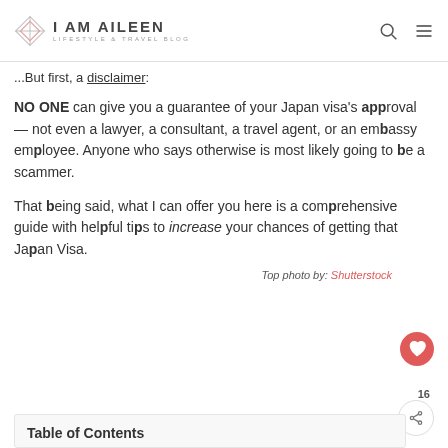i AM AiLEEN — LIFESTYLE & TRAVEL BLOG
...But first, a disclaimer:
NO ONE can give you a guarantee of your Japan visa's approval — not even a lawyer, a consultant, a travel agent, or an embassy employee. Anyone who says otherwise is most likely going to be a scammer.
That being said, what I can offer you here is a comprehensive guide with helpful tips to increase your chances of getting that Japan Visa.
Top photo by: Shutterstock
Table of Contents